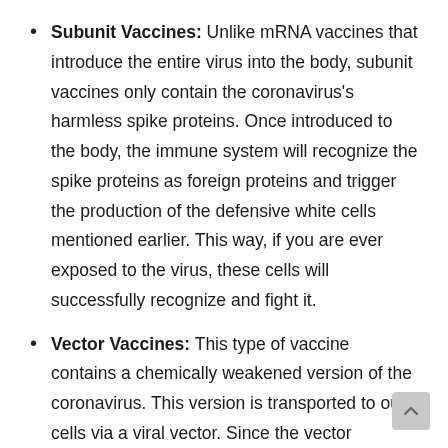Subunit Vaccines: Unlike mRNA vaccines that introduce the entire virus into the body, subunit vaccines only contain the coronavirus's harmless spike proteins. Once introduced to the body, the immune system will recognize the spike proteins as foreign proteins and trigger the production of the defensive white cells mentioned earlier. This way, if you are ever exposed to the virus, these cells will successfully recognize and fight it.
Vector Vaccines: This type of vaccine contains a chemically weakened version of the coronavirus. This version is transported to our cells via a viral vector. Since the vector contains COVID-19 genetic